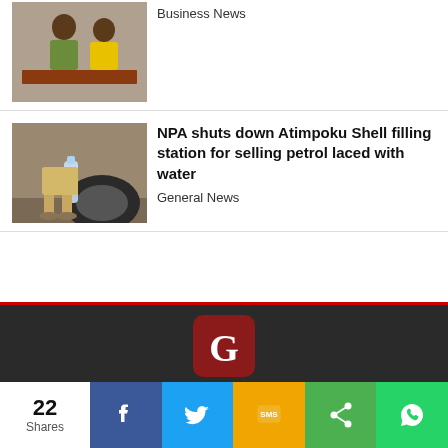[Figure (photo): Photo of a man at a podium with microphone, with another person in yellow beside him]
Business News
[Figure (photo): Photo of a person filling a bottle with liquid near a vehicle tire]
NPA shuts down Atimpoku Shell filling station for selling petrol laced with water
General News
[Figure (logo): Graphic online logo — red square with white G]
News in Your Mail | Contact Us  | Advertise With Graphic | Twitter
22 Shares